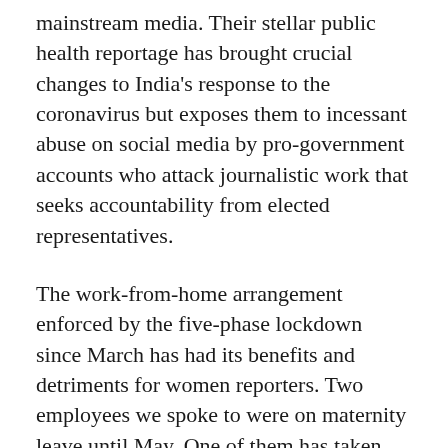mainstream media. Their stellar public health reportage has brought crucial changes to India's response to the coronavirus but exposes them to incessant abuse on social media by pro-government accounts who attack journalistic work that seeks accountability from elected representatives.
The work-from-home arrangement enforced by the five-phase lockdown since March has had its benefits and detriments for women reporters. Two employees we spoke to were on maternity leave until May. One of them has taken two rounds of salary cuts but is relieved that her job is secure. Filing stories from home is a blessing in disguise for her as she can continue breastfeeding her baby. But the same situation sadly played differently for another reporter who had to resign because